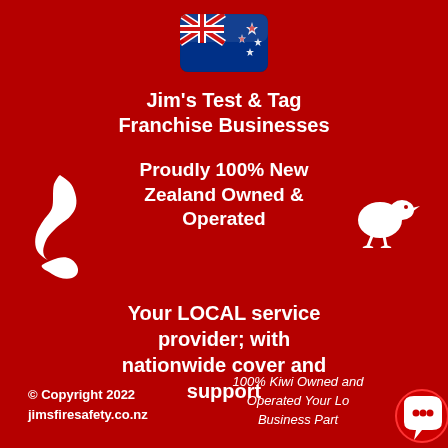[Figure (illustration): New Zealand flag emoji with rounded corners, blue field with Union Jack and Southern Cross stars]
Jim's Test & Tag Franchise Businesses
Proudly 100% New Zealand Owned & Operated
[Figure (illustration): White silhouette of New Zealand map on red background]
[Figure (illustration): White silhouette of kiwi bird on red background]
Your LOCAL service provider; with nationwide cover and support
© Copyright 2022
jimsfiresafety.co.nz
100% Kiwi Owned and Operated Your Lo... Business Part...
[Figure (illustration): Red chat bubble icon in bottom right corner]